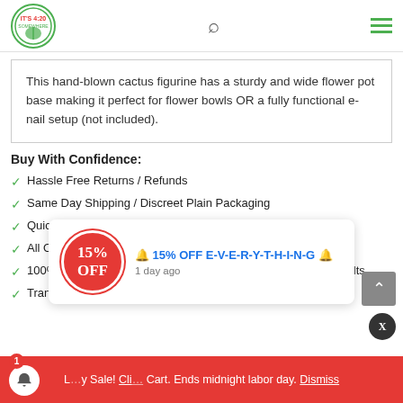It's 4:20 Somewhere - logo, search, hamburger menu
This hand-blown cactus figurine has a sturdy and wide flower pot base making it perfect for flower bowls OR a fully functional e-nail setup (not included).
Buy With Confidence:
✓ Hassle Free Returns / Refunds
✓ Same Day Shipping / Discreet Plain Packaging
✓ Quick Response to All Inquiries
✓ All Orders Ship From Our California Warehouse
✓ 100% Satisfaction Guarantee – No BS, No Excuses, Just Results
✓ Transparent M...
🔔 15% OFF E-V-E-R-Y-T-H-I-N-G 🔔 1 day ago
L... y Sale! Cli... Cart. Ends midnight labor day. Dismiss